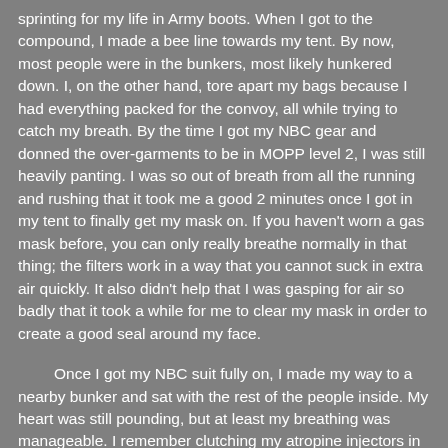sprinting for my life in Army boots.  When I got to the compound, I made a bee line towards my tent.  By now, most people were in the bunkers, most likely hunkered down.  I, on the other hand, tore apart my bags because I had everything packed for the convoy, all while trying to catch my breath.  By the time I got my NBC gear and donned the over-garments to be in MOPP level 2, I was still heavily panting.  I was so out of breath from all the running and rushing that it took me a good 2 minutes once I got in my tent to finally get my mask on.  If you haven't worn a gas mask before, you can only really breathe normally in that thing; the filters work in a way that you cannot suck in extra air quickly.  It also didn't help that I was gasping for air so badly that it took a while for me to clear my mask in order to create a good seal around my face.
Once I got my NBC suit fully on, I made my way to a nearby bunker and sat with the rest of the people inside.  My heart was still pounding, but at least my breathing was manageable. I remember clutching my atropine injectors in my mask carrier in case a SCUD missile would hit near us.  Fortunately, the SCUD missiles that Iraq had were pretty